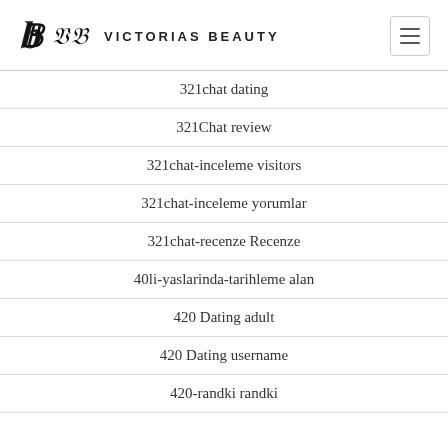Victorias Beauty
321chat dating
321Chat review
321chat-inceleme visitors
321chat-inceleme yorumlar
321chat-recenze Recenze
40li-yaslarinda-tarihleme alan
420 Dating adult
420 Dating username
420-randki randki